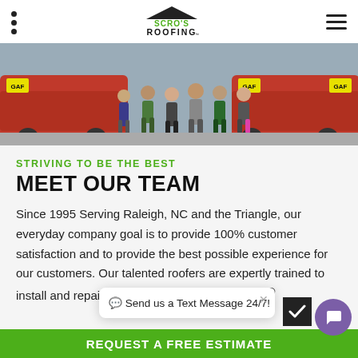SCRO'S ROOFING
[Figure (photo): Group of people standing in front of red company vehicles with GAF branding]
STRIVING TO BE THE BEST
MEET OUR TEAM
Since 1995 Serving Raleigh, NC and the Triangle, our everyday company goal is to provide 100% customer satisfaction and to provide the best possible experience for our customers. Our talented roofers are expertly trained to install and repair a variety of roofing systems. Elite®
Send us a Text Message 24/7!
REQUEST A FREE ESTIMATE